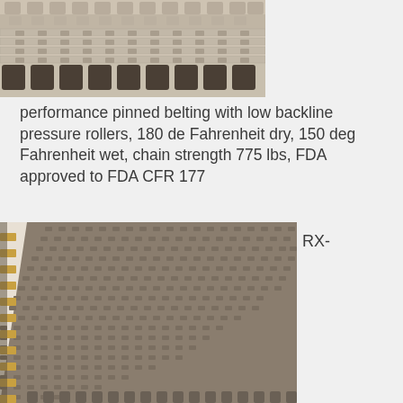[Figure (photo): Close-up top view of performance pinned plastic modular conveyor belting showing interlocking links and pins with dark brown/black square blocks along the bottom edge]
performance pinned belting with low backline pressure rollers, 180 de Fahrenheit dry, 150 deg Fahrenheit wet, chain strength 775 lbs, FDA approved to FDA CFR 177
[Figure (photo): Angled perspective close-up of brown/tan modular conveyor belt showing textured surface with repeated raised nub pattern and yellow pin rods along the left side edge, belt curves away into distance]
RX-